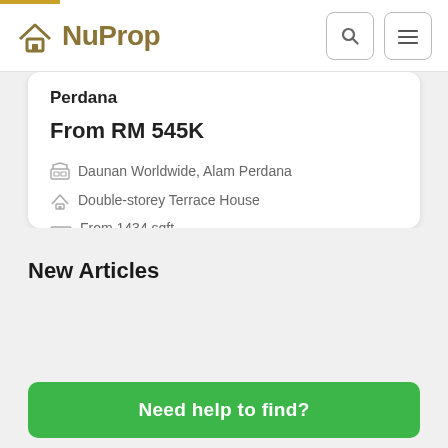NuProp
Perdana
From RM 545K
Daunan Worldwide, Alam Perdana
Double-storey Terrace House
From 1434 sqft
New Articles
Need help to find?